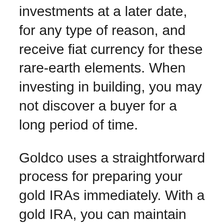investments at a later date, for any type of reason, and receive fiat currency for these rare-earth elements. When investing in building, you may not discover a buyer for a long period of time.
Goldco uses a straightforward process for preparing your gold IRAs immediately. With a gold IRA, you can maintain gold and various other precious metals in a self directed IRA, rather than bonds or stocks.
To sign up an account, go to the Goldco website, fill out the application with the required details, after that select exactly how to transfer into your IRA. After this, you can allocate funds to this brand-new account. After Goldco validates the funds transfer,